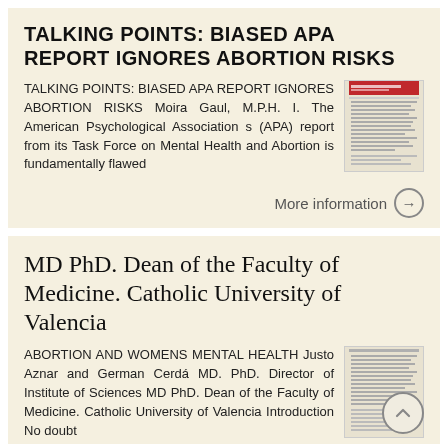TALKING POINTS: BIASED APA REPORT IGNORES ABORTION RISKS
TALKING POINTS: BIASED APA REPORT IGNORES ABORTION RISKS Moira Gaul, M.P.H. I. The American Psychological Association s (APA) report from its Task Force on Mental Health and Abortion is fundamentally flawed
[Figure (photo): Thumbnail image of a document page with red header bar]
More information →
MD PhD. Dean of the Faculty of Medicine. Catholic University of Valencia
ABORTION AND WOMENS MENTAL HEALTH Justo Aznar and German Cerdá MD. PhD. Director of Institute of Sciences MD PhD. Dean of the Faculty of Medicine. Catholic University of Valencia Introduction No doubt
[Figure (photo): Thumbnail image of a text document page]